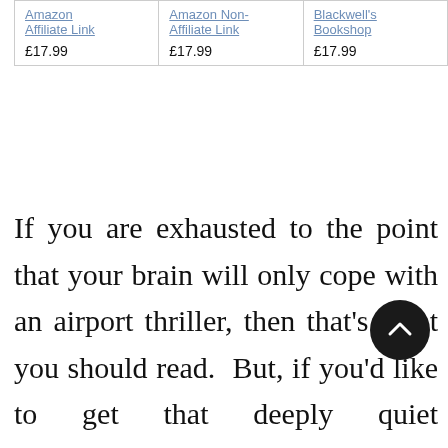| Amazon Affiliate Link | Amazon Non-Affiliate Link | Blackwell's Bookshop |
| --- | --- | --- |
| £17.99 | £17.99 | £17.99 |
If you are exhausted to the point that your brain will only cope with an airport thriller, then that's what you should read.  But, if you'd like to get that deeply quiet contentment that comes from